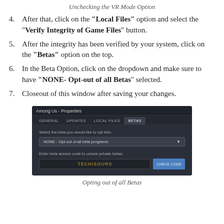Unchecking the VR Mode Option
After that, click on the “Local Files” option and select the “Verify Integrity of Game Files” button.
After the integrity has been verified by your system, click on the “Betas” option on the top.
In the Beta Option, click on the dropdown and make sure to have “NONE- Opt-out of all Betas” selected.
Closeout of this window after saving your changes.
[Figure (screenshot): Steam Among Us Properties dialog showing the Betas tab with 'NONE - Opt out of all beta programs' selected in the dropdown, and a beta access code input field with a CHECK CODE button.]
Opting out of all Betas